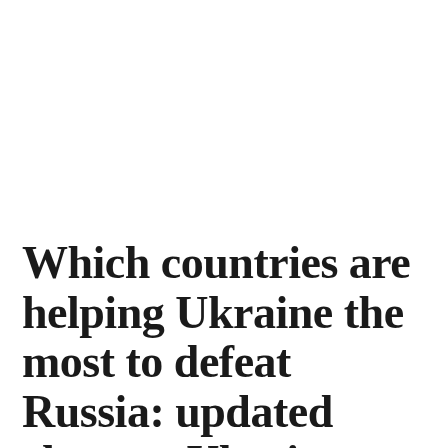Which countries are helping Ukraine the most to defeat Russia: updated charts – Ukraine news, World